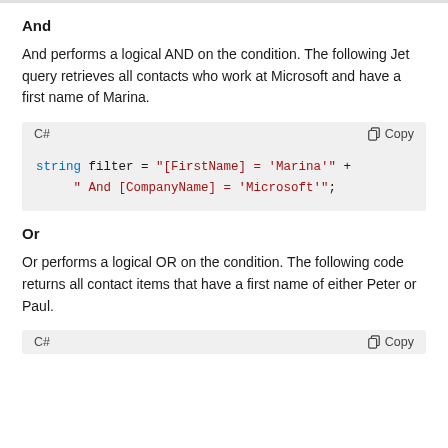And
And performs a logical AND on the condition. The following Jet query retrieves all contacts who work at Microsoft and have a first name of Marina.
C#  [code block] string filter = "[FirstName] = 'Marina'" + " And [CompanyName] = 'Microsoft'";
Or
Or performs a logical OR on the condition. The following code returns all contact items that have a first name of either Peter or Paul.
C#  [code block - partial]